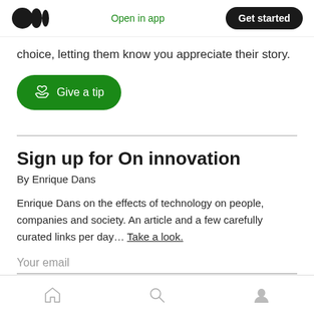Medium logo | Open in app | Get started
choice, letting them know you appreciate their story.
[Figure (other): Green 'Give a tip' button with hand-heart icon]
Sign up for On innovation
By Enrique Dans
Enrique Dans on the effects of technology on people, companies and society. An article and a few carefully curated links per day... Take a look.
Your email
Home | Search | Profile nav icons